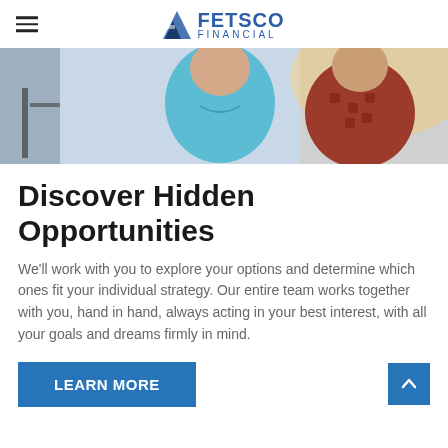FETSCO FINANCIAL
[Figure (photo): Close-up photo of two people outdoors, one in a light blue shirt and one in a patterned shirt, with a bright background.]
Discover Hidden Opportunities
We'll work with you to explore your options and determine which ones fit your individual strategy. Our entire team works together with you, hand in hand, always acting in your best interest, with all your goals and dreams firmly in mind.
LEARN MORE